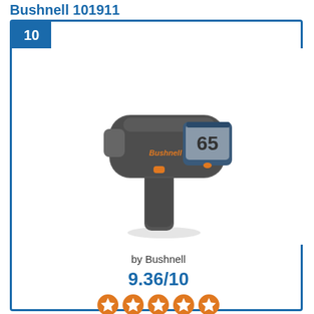Bushnell 101911
[Figure (photo): Bushnell 101911 radar gun / speed gun, dark gray handheld device with orange Bushnell logo and digital display showing 65, with orange trigger button]
by Bushnell
9.36/10
[Figure (other): Five orange/red star rating icons]